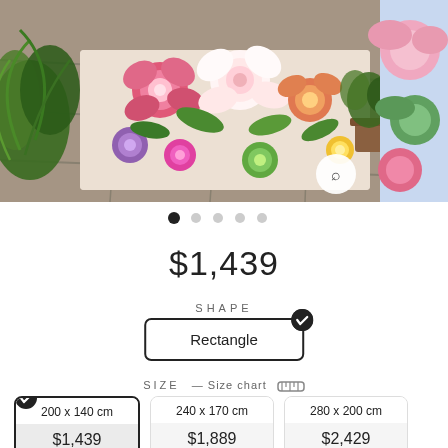[Figure (photo): Colorful floral rug displayed outdoors on stone patio with green plants nearby. Right edge shows partial view of another floral product image.]
$1,439
SHAPE
Rectangle
SIZE — Size chart
| Size | Price |
| --- | --- |
| 200 x 140 cm | $1,439 |
| 240 x 170 cm | $1,889 |
| 280 x 200 cm | $2,429 |